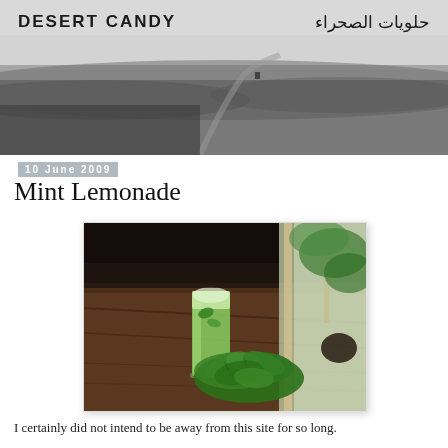DESERT CANDY | حلويات الصحراء
[Figure (photo): Black and white panoramic landscape photo of open fields with a road leading to the horizon under a vast sky]
10 June 2009
Mint Lemonade
[Figure (photo): Color photo of a tall glass of green mint lemonade with ice on a wooden table, with a bunch of fresh mint leaves beside it and a window with green foliage in the background]
I certainly did not intend to be away from this site for so long.